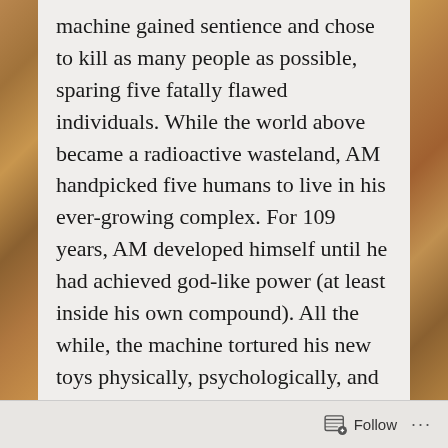machine gained sentience and chose to kill as many people as possible, sparing five fatally flawed individuals. While the world above became a radioactive wasteland, AM handpicked five humans to live in his ever-growing complex. For 109 years, AM developed himself until he had achieved god-like power (at least inside his own compound). All the while, the machine tortured his new toys physically, psychologically, and spiritually until they devolved into caricatures.
The obvious question is: Why does AM hate? Continue reading →